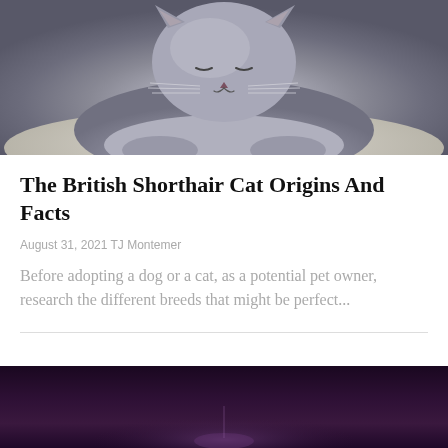[Figure (photo): Close-up photo of a grey British Shorthair cat lying down on a light surface, facing the camera with a calm expression]
The British Shorthair Cat Origins And Facts
August 31, 2021 TJ Montemer
Before adopting a dog or a cat, as a potential pet owner, research the different breeds that might be perfect...
[Figure (photo): Dark photo partially visible at the bottom of the page, appears to show an animal silhouette against a dark purple/night sky background]